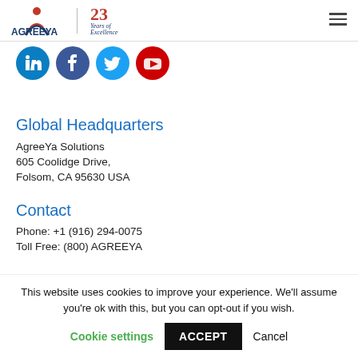[Figure (logo): AgreeYa logo with figure icon and '23 Years of Excellence' badge, plus hamburger menu icon]
[Figure (illustration): Social media icons row: LinkedIn (blue), Facebook (dark blue), Twitter (light blue), YouTube (red)]
Global Headquarters
AgreeYa Solutions
605 Coolidge Drive,
Folsom, CA 95630 USA
Contact
Phone: +1 (916) 294-0075
Toll Free: (800) AGREEYA
This website uses cookies to improve your experience. We'll assume you're ok with this, but you can opt-out if you wish.
Cookie settings   ACCEPT   Cancel